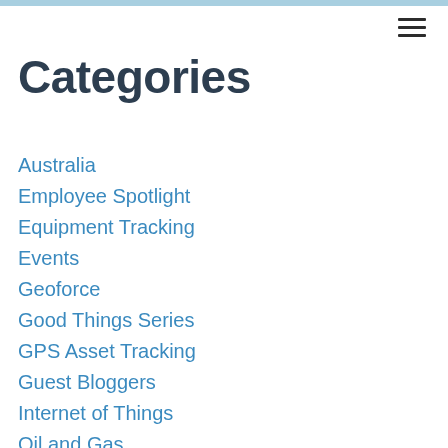Categories
Australia
Employee Spotlight
Equipment Tracking
Events
Geoforce
Good Things Series
GPS Asset Tracking
Guest Bloggers
Internet of Things
Oil and Gas
Safety
Tips & Tricks